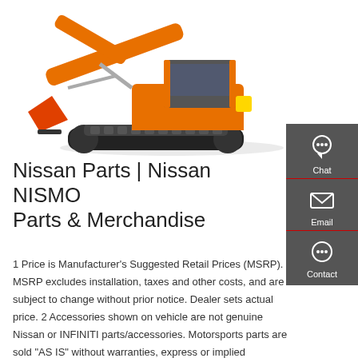[Figure (photo): Orange excavator/construction machine on white background]
Nissan Parts | Nissan NISMO Parts & Merchandise
[Figure (infographic): Dark gray sidebar with Chat (headset icon), Email (envelope icon), and Contact (speech bubble icon) buttons]
1 Price is Manufacturer's Suggested Retail Prices (MSRP). MSRP excludes installation, taxes and other costs, and are subject to change without prior notice. Dealer sets actual price. 2 Accessories shown on vehicle are not genuine Nissan or INFINITI parts/accessories. Motorsports parts are sold "AS IS" without warranties, express or implied (including all